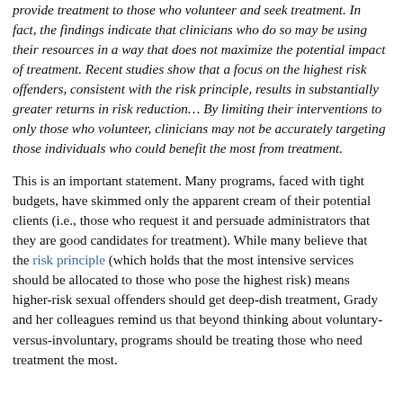provide treatment to those who volunteer and seek treatment. In fact, the findings indicate that clinicians who do so may be using their resources in a way that does not maximize the potential impact of treatment. Recent studies show that a focus on the highest risk offenders, consistent with the risk principle, results in substantially greater returns in risk reduction… By limiting their interventions to only those who volunteer, clinicians may not be accurately targeting those individuals who could benefit the most from treatment.
This is an important statement. Many programs, faced with tight budgets, have skimmed only the apparent cream of their potential clients (i.e., those who request it and persuade administrators that they are good candidates for treatment). While many believe that the risk principle (which holds that the most intensive services should be allocated to those who pose the highest risk) means higher-risk sexual offenders should get deep-dish treatment, Grady and her colleagues remind us that beyond thinking about voluntary-versus-involuntary, programs should be treating those who need treatment the most.